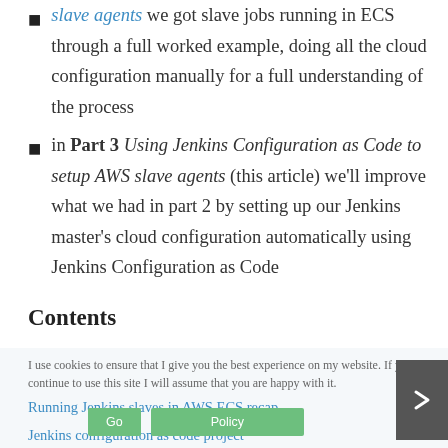slave agents we got slave jobs running in ECS through a full worked example, doing all the cloud configuration manually for a full understanding of the process
in Part 3 Using Jenkins Configuration as Code to setup AWS slave agents (this article) we'll improve what we had in part 2 by setting up our Jenkins master's cloud configuration automatically using Jenkins Configuration as Code
Contents
I use cookies to ensure that I give you the best experience on my website. If you continue to use this site I will assume that you are happy with it.
Running Jenkins slaves in AWS ECS recap
Jenkins configuration as code project
An example Jenkins project in AWS
Jenkins master with automatic cloud configuration